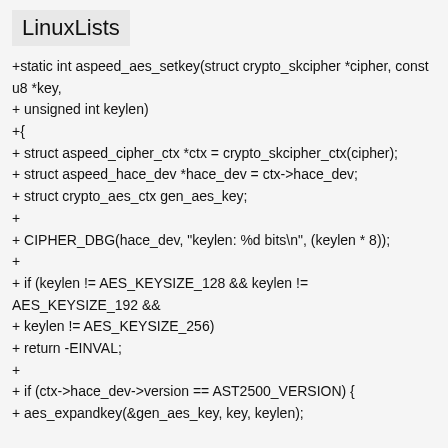LinuxLists
+static int aspeed_aes_setkey(struct crypto_skcipher *cipher, const u8 *key,
+ unsigned int keylen)
+{
+ struct aspeed_cipher_ctx *ctx = crypto_skcipher_ctx(cipher);
+ struct aspeed_hace_dev *hace_dev = ctx->hace_dev;
+ struct crypto_aes_ctx gen_aes_key;
+
+ CIPHER_DBG(hace_dev, "keylen: %d bits\n", (keylen * 8));
+
+ if (keylen != AES_KEYSIZE_128 && keylen != AES_KEYSIZE_192 &&
+ keylen != AES_KEYSIZE_256)
+ return -EINVAL;
+
+ if (ctx->hace_dev->version == AST2500_VERSION) {
+ aes_expandkey(&gen_aes_key, key, keylen);